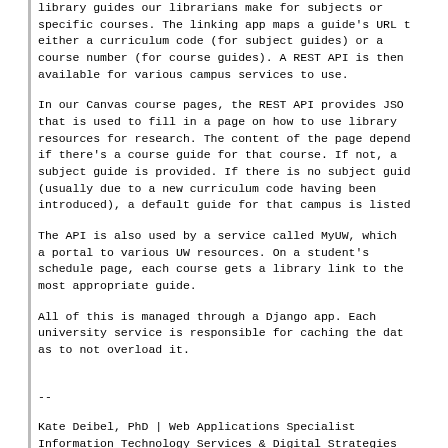library guides our librarians make for subjects or specific courses. The linking app maps a guide's URL to either a curriculum code (for subject guides) or a course number (for course guides). A REST API is then available for various campus services to use.
In our Canvas course pages, the REST API provides JSON that is used to fill in a page on how to use library resources for research. The content of the page depends if there's a course guide for that course. If not, a subject guide is provided. If there is no subject guide (usually due to a new curriculum code having been introduced), a default guide for that campus is listed.
The API is also used by a service called MyUW, which is a portal to various UW resources. On a student's schedule page, each course gets a library link to the most appropriate guide.
All of this is managed through a Django app. Each university service is responsible for caching the data as to not overload it.
--
Kate Deibel, PhD | Web Applications Specialist
Information Technology Services & Digital Strategies
University of Washington Libraries